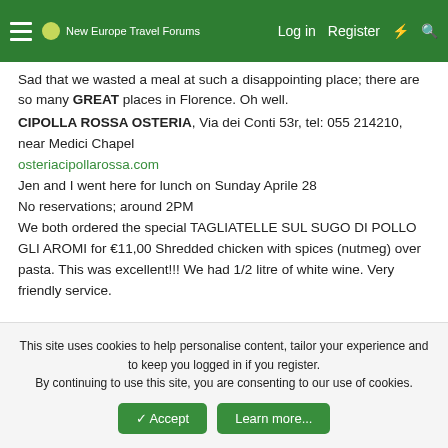New Europe Travel Forums — Log in | Register
Sad that we wasted a meal at such a disappointing place; there are so many GREAT places in Florence. Oh well.
CIPOLLA ROSSA OSTERIA, Via dei Conti 53r, tel: 055 214210, near Medici Chapel
osteriacipollarossa.com
Jen and I went here for lunch on Sunday Aprile 28
No reservations; around 2PM
We both ordered the special TAGLIATELLE SUL SUGO DI POLLO GLI AROMI for €11,00 Shredded chicken with spices (nutmeg) over pasta. This was excellent!!! We had 1/2 litre of white wine. Very friendly service.
This site uses cookies to help personalise content, tailor your experience and to keep you logged in if you register.
By continuing to use this site, you are consenting to our use of cookies.